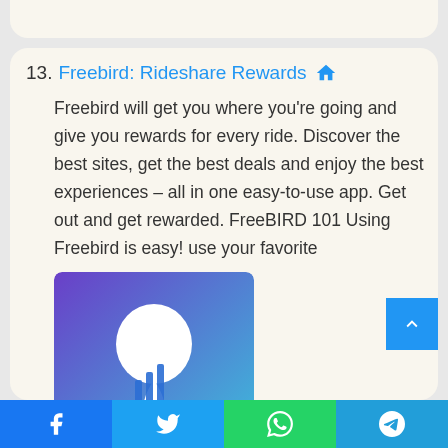13. Freebird: Rideshare Rewards 🏠
Freebird will get you where you're going and give you rewards for every ride. Discover the best sites, get the best deals and enjoy the best experiences – all in one easy-to-use app. Get out and get rewarded. FreeBIRD 101 Using Freebird is easy! use your favorite
[Figure (logo): Freebird app logo — purple to blue gradient background with a white location pin / bird shape and blue signal bar icons inside]